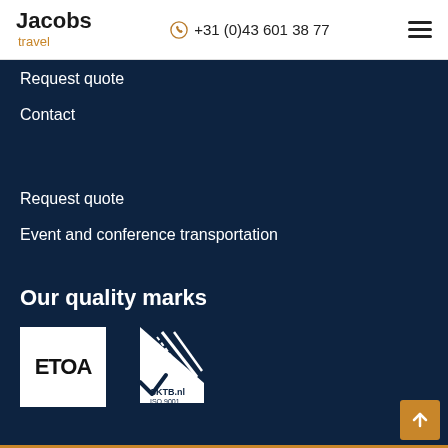Jacobs travel | +31 (0)43 601 38 77
Request quote
Contact
Request quote
Event and conference transportation
Our quality marks
[Figure (logo): ETOA logo — white box with black ETOA text]
[Figure (logo): SKTB.nl ISO 9001 logo — road graphic with checkmark and text]